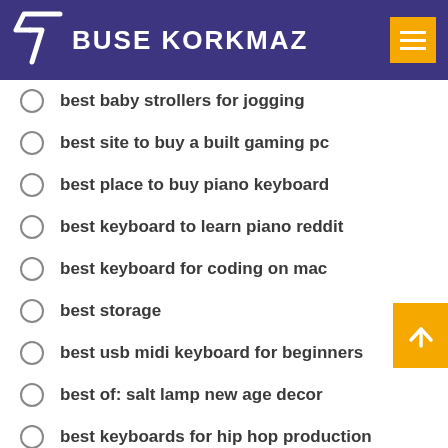BUSE KORKMAZ
best baby strollers for jogging
best site to buy a built gaming pc
best place to buy piano keyboard
best keyboard to learn piano reddit
best keyboard for coding on mac
best storage
best usb midi keyboard for beginners
best of: salt lamp new age decor
best keyboards for hip hop production
best blood sugar monitor systen